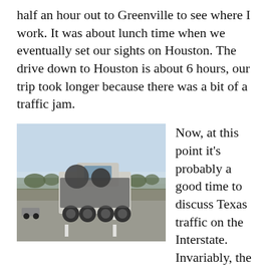half an hour out to Greenville to see where I work. It was about lunch time when we eventually set our sights on Houston. The drive down to Houston is about 6 hours, our trip took longer because there was a bit of a traffic jam.
[Figure (photo): A large vehicle or heavy machinery on a Texas interstate highway, viewed from behind/side. Flat landscape with trees visible in the background under a pale blue sky.]
Now, at this point it's probably a good time to discuss Texas traffic on the Interstate. Invariably, the interstate is two to three lanes wide both ways and is filled with large cars traveling very fast. In New Zealand, someone driving a large range rover or equivalent “off road” vehicle is most likely not going to use it for pulling anything more than a boat trailer. Texans are serious about their muscle